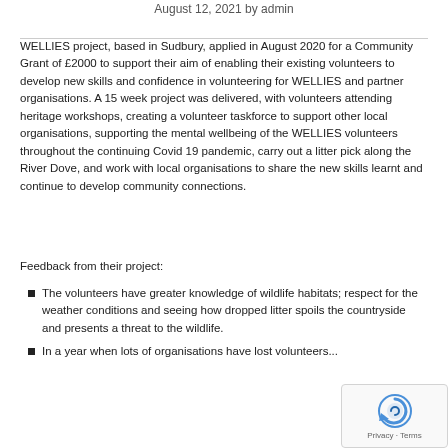August 12, 2021 by admin
WELLIES project, based in Sudbury, applied in August 2020 for a Community Grant of £2000 to support their aim of enabling their existing volunteers to develop new skills and confidence in volunteering for WELLIES and partner organisations. A 15 week project was delivered, with volunteers attending heritage workshops, creating a volunteer taskforce to support other local organisations, supporting the mental wellbeing of the WELLIES volunteers throughout the continuing Covid 19 pandemic, carry out a litter pick along the River Dove, and work with local organisations to share the new skills learnt and continue to develop community connections.
Feedback from their project:
The volunteers have greater knowledge of wildlife habitats; respect for the weather conditions and seeing how dropped litter spoils the countryside and presents a threat to the wildlife.
In a year when lots of organisations have lost volunteers...